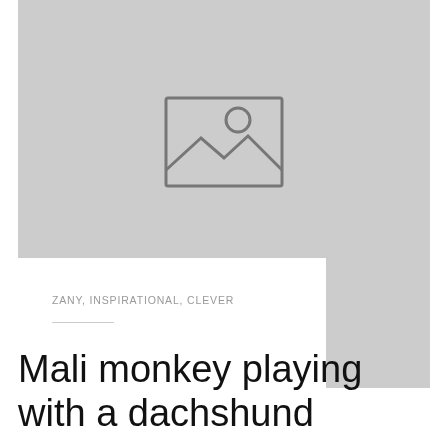[Figure (photo): Placeholder image with mountain and sun icon on gray background]
ZANY, INSPIRATIONAL, CLEVER
Mali monkey playing with a dachshund